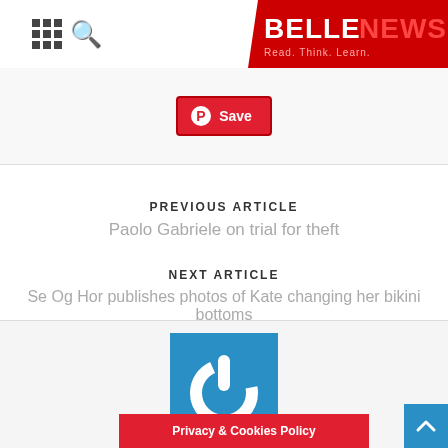BELLENEWS — Read. Think. Learn.
[Figure (logo): Pinterest Save button — red button with Pinterest P icon and 'Save' text]
PREVIOUS ARTICLE
Paolo Gabriele on trial for theft
NEXT ARTICLE
Se Og Hor publishes photos of Kate changing her bikini bottoms
[Figure (logo): Blue square with white power button icon — site logo/author avatar]
Privacy & Cookies Policy